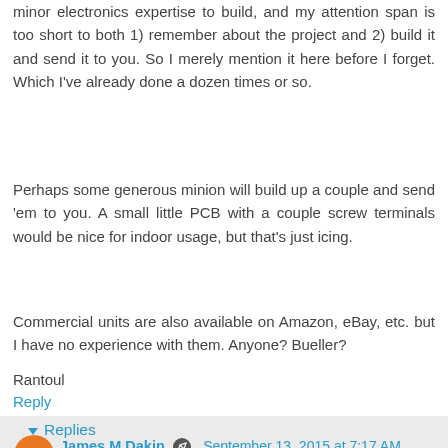minor electronics expertise to build, and my attention span is too short to both 1) remember about the project and 2) build it and send it to you. So I merely mention it here before I forget. Which I've already done a dozen times or so.
Perhaps some generous minion will build up a couple and send 'em to you. A small little PCB with a couple screw terminals would be nice for indoor usage, but that's just icing.
Commercial units are also available on Amazon, eBay, etc. but I have no experience with them. Anyone? Bueller?
Rantoul
Reply
Replies
James M Dakin  September 13, 2015 at 7:17 AM
Sounds like a good idea, but I got a bit butt hurt...